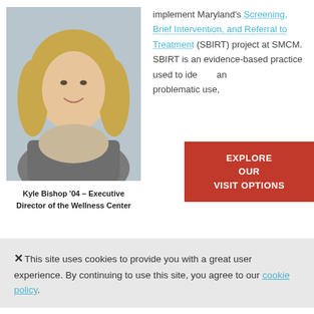[Figure (photo): Headshot photo of Kyle Bishop, a woman with long blonde hair wearing a grey jacket and scarf, smiling.]
Kyle Bishop '04 – Executive Director of the Wellness Center
implement Maryland's Screening, Brief Intervention, and Referral to Treatment (SBIRT) project at SMCM. SBIRT is an evidence-based practice used to ide… an… problematic use,
[Figure (other): Red button overlay reading EXPLORE OUR VISIT OPTIONS]
This site uses cookies to provide you with a great user experience. By continuing to use this site, you agree to our cookie policy.